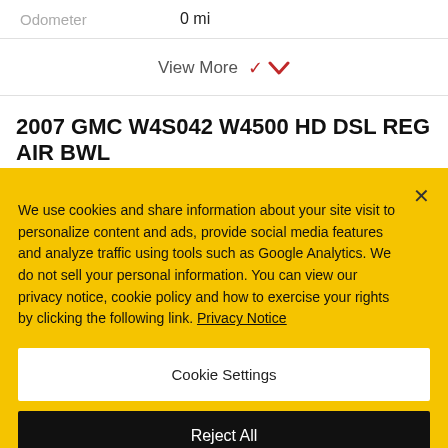Odometer   0 mi
View More ▼
2007 GMC W4S042 W4500 HD DSL REG AIR BWL
We use cookies and share information about your site visit to personalize content and ads, provide social media features and analyze traffic using tools such as Google Analytics. We do not sell your personal information. You can view our privacy notice, cookie policy and how to exercise your rights by clicking the following link. Privacy Notice
Cookie Settings
Reject All
Accept Cookies